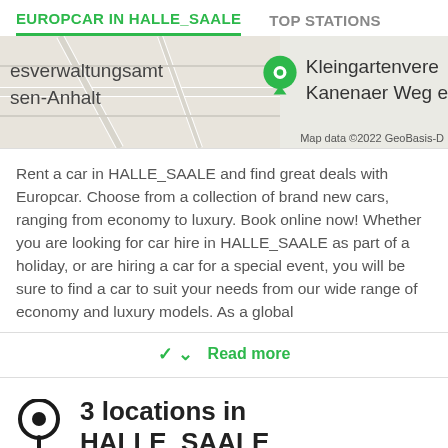EUROPCAR IN HALLE_SAALE   TOP STATIONS
[Figure (map): Partial map screenshot showing 'esverwaltungsamt sen-Anhalt' on the left and a green map pin labeled 'Kleingartenvere Kanenaer Weg e' on the right, with 'Map data ©2022 GeoBasis-D' copyright notice.]
Rent a car in HALLE_SAALE and find great deals with Europcar. Choose from a collection of brand new cars, ranging from economy to luxury. Book online now! Whether you are looking for car hire in HALLE_SAALE as part of a holiday, or are hiring a car for a special event, you will be sure to find a car to suit your needs from our wide range of economy and luxury models. As a global
Read more
3 locations in HALLE_SAALE
Halle